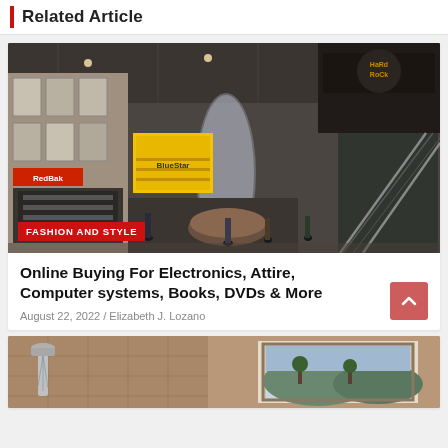Related Article
[Figure (photo): Interior of a shopping mall showing multiple floors, stores including a yellow-fronted store, escalators, a cylindrical glass display structure, and shoppers. A red neon sign is visible. Shot from an elevated angle.]
FASHION AND STYLE
Online Buying For Electronics, Attire, Computer systems, Books, DVDs & More
August 22, 2022 / Elizabeth J. Lozano
[Figure (photo): Partial view of a bathroom or shower area with brown/tan tile walls, a silver faucet/showerhead, and a framed picture partially visible on the right side.]